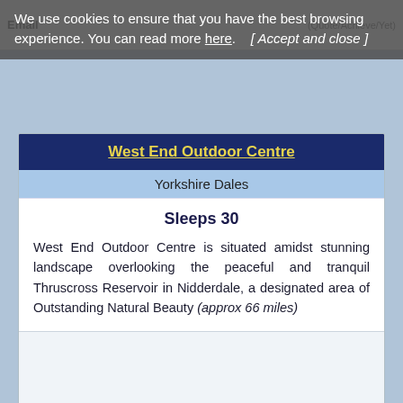We use cookies to ensure that you have the best browsing experience. You can read more here. [ Accept and close ]
West End Outdoor Centre
Yorkshire Dales
Sleeps 30
West End Outdoor Centre is situated amidst stunning landscape overlooking the peaceful and tranquil Thruscross Reservoir in Nidderdale, a designated area of Outstanding Natural Beauty (approx 66 miles)
[Figure (photo): Image area placeholder below description text]